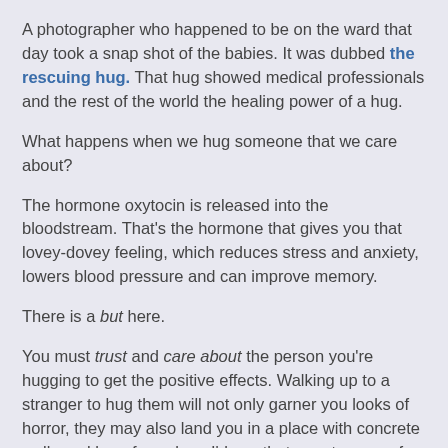A photographer who happened to be on the ward that day took a snap shot of the babies. It was dubbed the rescuing hug. That hug showed medical professionals and the rest of the world the healing power of a hug.
What happens when we hug someone that we care about?
The hormone oxytocin is released into the bloodstream. That's the hormone that gives you that lovey-dovey feeling, which reduces stress and anxiety, lowers blood pressure and can improve memory.
There is a but here.
You must trust and care about the person you're hugging to get the positive effects. Walking up to a stranger to hug them will not only garner you looks of horror, they may also land you in a place with concrete walls and bars for a door. I'd say that negates any of the healing properties of a hug.
But there is no denying that there is healing power in a hug